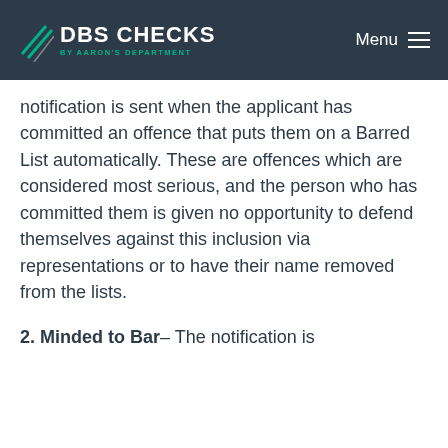DBS CHECKS BY AARON'S DEPARTMENT | Menu
notification is sent when the applicant has committed an offence that puts them on a Barred List automatically. These are offences which are considered most serious, and the person who has committed them is given no opportunity to defend themselves against this inclusion via representations or to have their name removed from the lists.
2. Minded to Bar– The notification is